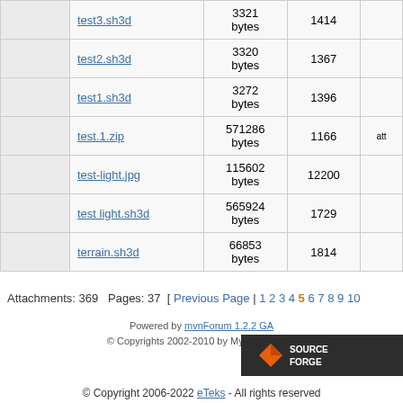|  | Name | Size | Downloads |  |
| --- | --- | --- | --- | --- |
|  | test3.sh3d | 3321 bytes | 1414 |  |
|  | test2.sh3d | 3320 bytes | 1367 |  |
|  | test1.sh3d | 3272 bytes | 1396 |  |
|  | test.1.zip | 571286 bytes | 1166 | att |
|  | test-light.jpg | 115602 bytes | 12200 |  |
|  | test light.sh3d | 565924 bytes | 1729 |  |
|  | terrain.sh3d | 66853 bytes | 1814 |  |
Attachments: 369   Pages: 37   [ Previous Page | 1 2 3 4 5 6 7 8 9 10 ]
Powered by mvnForum 1.2.2 GA
© Copyrights 2002-2010 by MyVietnam.net
[Figure (logo): SourceForge logo]
© Copyright 2006-2022 eTeks - All rights reserved